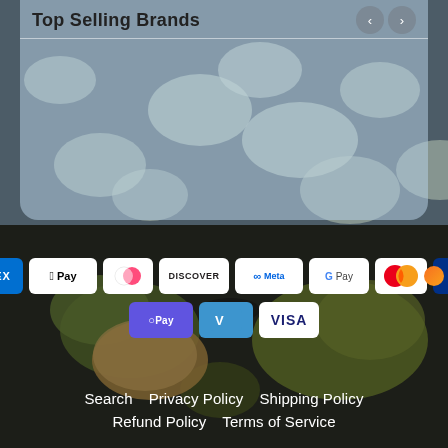Top Selling Brands
[Figure (photo): Lily pads floating on dark water, e-commerce website footer section background]
[Figure (infographic): Payment method icons: AMEX, Apple Pay, Diners Club, Discover, Meta Pay, Google Pay, Mastercard, PayPal, Shop Pay, Venmo, Visa]
Search   Privacy Policy   Shipping Policy   Refund Policy   Terms of Service